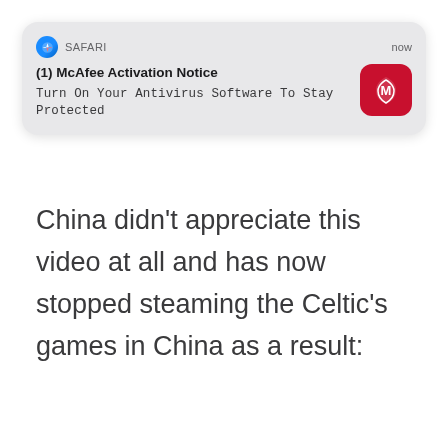[Figure (screenshot): iOS Safari push notification: '(1) McAfee Activation Notice — Turn On Your Antivirus Software To Stay Protected', with McAfee red icon on the right and 'now' timestamp.]
China didn't appreciate this video at all and has now stopped steaming the Celtic's games in China as a result: